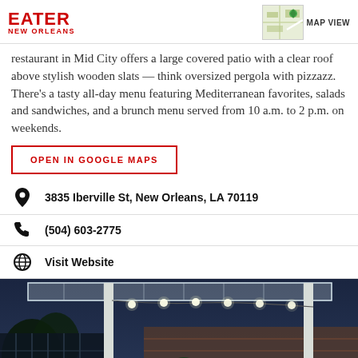EATER NEW ORLEANS | MAP VIEW
restaurant in Mid City offers a large covered patio with a clear roof above stylish wooden slats — think oversized pergola with pizzazz. There's a tasty all-day menu featuring Mediterranean favorites, salads and sandwiches, and a brunch menu served from 10 a.m. to 2 p.m. on weekends.
OPEN IN GOOGLE MAPS
3835 Iberville St, New Orleans, LA 70119
(504) 603-2775
Visit Website
[Figure (photo): Night photo of a covered patio with string lights hanging under a clear pergola roof, trees and brick wall visible in background]